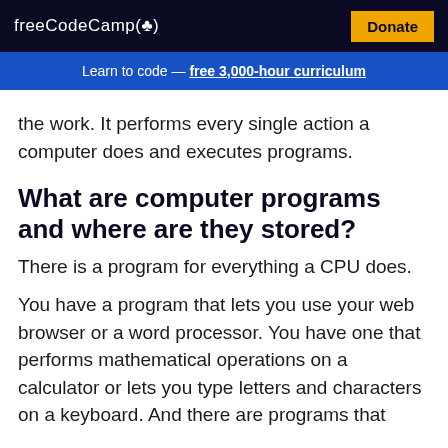freeCodeCamp(🔥)  Donate
Learn to code — free 3,000-hour curriculum
the work. It performs every single action a computer does and executes programs.
What are computer programs and where are they stored?
There is a program for everything a CPU does.
You have a program that lets you use your web browser or a word processor. You have one that performs mathematical operations on a calculator or lets you type letters and characters on a keyboard. And there are programs that